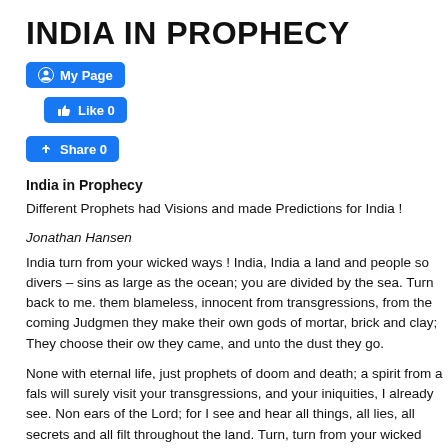INDIA IN PROPHECY
[Figure (screenshot): Facebook 'My Page' button - blue rounded rectangle with profile icon]
[Figure (screenshot): Facebook 'Like 0' button - blue rounded rectangle with thumbs up icon]
[Figure (screenshot): Facebook 'Share 0' button - blue rounded rectangle with Facebook icon]
India in Prophecy
Different Prophets had Visions and made Predictions for India !
Jonathan Hansen
India turn from your wicked ways ! India, India a land and people so divers – sins as large as the ocean; you are divided by the sea. Turn back to me. them blameless, innocent from transgressions, from the coming Judgmen they make their own gods of mortar, brick and clay; They choose their ow they came, and unto the dust they go.
None with eternal life, just prophets of doom and death; a spirit from a fals will surely visit your transgressions, and your iniquities, I already see. No ears of the Lord; for I see and hear all things, all lies, all secrets and all filt throughout the land. Turn, turn from your wicked ways, saith the Lord of H